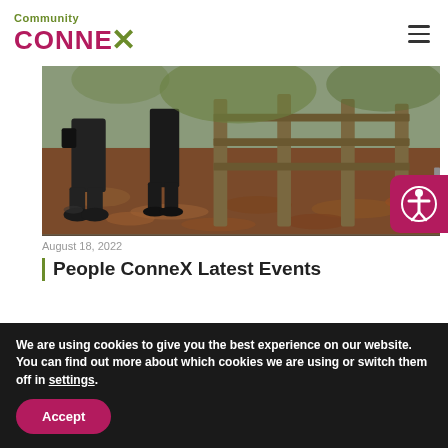Community ConneX
[Figure (photo): Outdoor woodland photo showing people's legs and boots standing near a wooden fence gate, with fallen autumn leaves covering the ground]
August 18, 2022
People ConneX Latest Events
We are using cookies to give you the best experience on our website.
You can find out more about which cookies we are using or switch them off in settings.
Accept